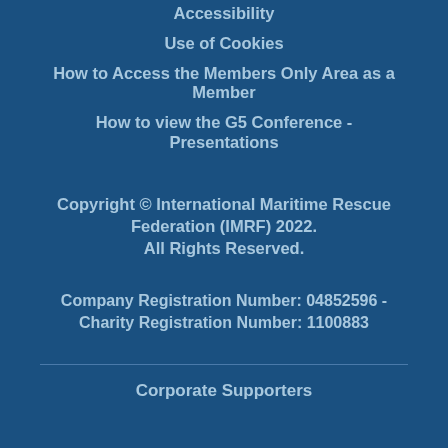Accessibility
Use of Cookies
How to Access the Members Only Area as a Member
How to view the G5 Conference - Presentations
Copyright © International Maritime Rescue Federation (IMRF) 2022. All Rights Reserved.
Company Registration Number: 04852596 - Charity Registration Number: 1100883
Corporate Supporters